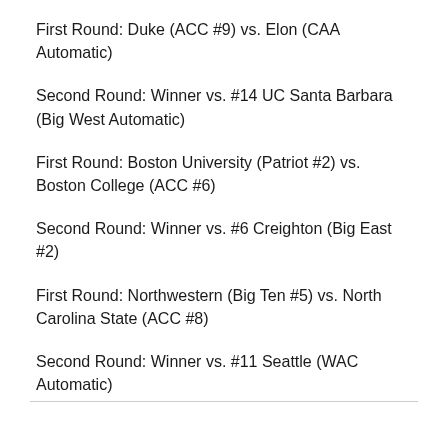First Round: Duke (ACC #9) vs. Elon (CAA Automatic)
Second Round: Winner vs. #14 UC Santa Barbara (Big West Automatic)
First Round: Boston University (Patriot #2) vs. Boston College (ACC #6)
Second Round: Winner vs. #6 Creighton (Big East #2)
First Round: Northwestern (Big Ten #5) vs. North Carolina State (ACC #8)
Second Round: Winner vs. #11 Seattle (WAC Automatic)